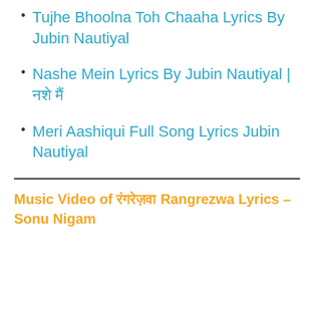Tujhe Bhoolna Toh Chaaha Lyrics By Jubin Nautiyal
Nashe Mein Lyrics By Jubin Nautiyal | नशे मैं
Meri Aashiqui Full Song Lyrics Jubin Nautiyal
Music Video of रंगरेज़वा Rangrezwa Lyrics – Sonu Nigam